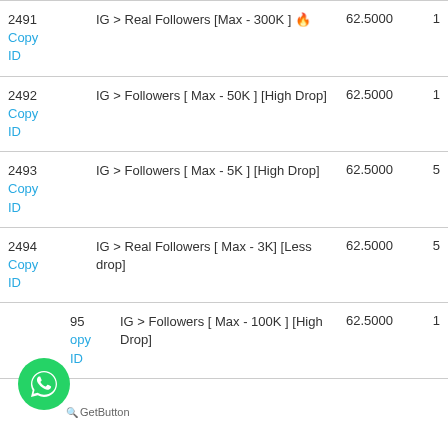| ID | Name | Price | Min |
| --- | --- | --- | --- |
| 2491
Copy ID | IG &gt; Real Followers [Max - 300K ] 🔥 | 62.5000 | 1 |
| 2492
Copy ID | IG &gt; Followers [ Max - 50K ] [High Drop] | 62.5000 | 1 |
| 2493
Copy ID | IG &gt; Followers [ Max - 5K ] [High Drop] | 62.5000 | 5 |
| 2494
Copy ID | IG &gt; Real Followers [ Max - 3K] [Less drop] | 62.5000 | 5 |
| 2495
Copy ID | IG &gt; Followers [ Max - 100K ] [High Drop] | 62.5000 | 1 |
[Figure (logo): WhatsApp contact button (green circle with phone/chat icon) and 'GetButton' label]